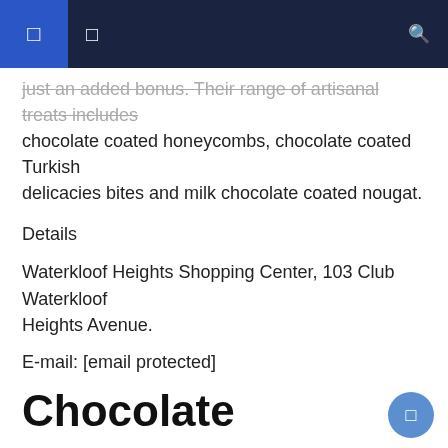just an added bonus. Their range of artisanal treats includes chocolate coated honeycombs, chocolate coated Turkish delicacies bites and milk chocolate coated nougat.
Details
Waterkloof Heights Shopping Center, 103 Club Waterkloof Heights Avenue.
E-mail: [email protected]
Chocolate
See this post on Instagram
A post shared by Vicki Bain @ Chocoloza (@chocolozabelgianchocolates) Jan 17, 2019 at 9:05 am PST